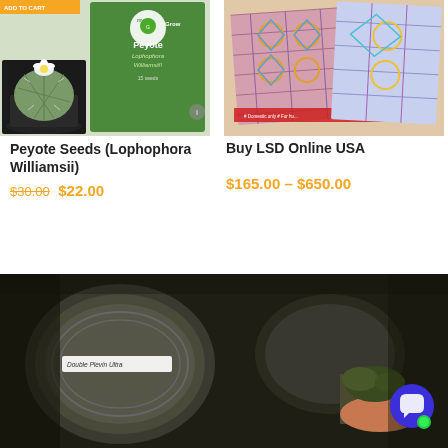[Figure (photo): Product image of Peyote Seeds - shows a green seed packet from Mystic Grow brand and a small white-flowered cactus plant]
Peyote Seeds (Lophophora Williamsii)
$30.00 $22.00
[Figure (photo): Product image of Buy LSD Online USA - shows colorful patterned blotter art sheets]
Buy LSD Online USA
$165.00 – $650.00
[Figure (photo): Dark bottom photo showing glass jars with a label reading 'Double Plevin Ultra' and a hand holding plant material, with a blue chat button and green dot overlay]